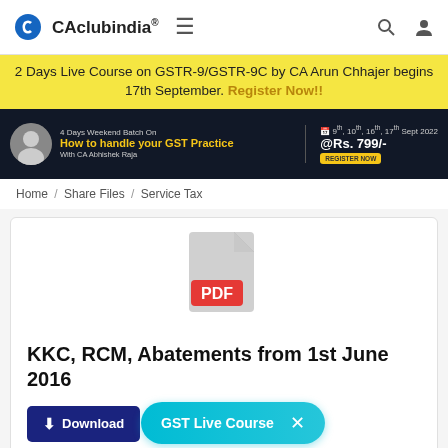CAclubindia® ☰
2 Days Live Course on GSTR-9/GSTR-9C by CA Arun Chhajer begins 17th September. Register Now!!
[Figure (advertisement): Dark banner ad: 4 Days Weekend Batch On How to handle your GST Practice With CA Abhishek Raja, 9th, 10th, 16th, 17th Sept 2022 @Rs. 799/- Register Now]
Home / Share Files / Service Tax
[Figure (illustration): PDF file icon with red PDF label badge]
KKC, RCM, Abatements from 1st June 2016
Download   Preview
GST Live Course ×